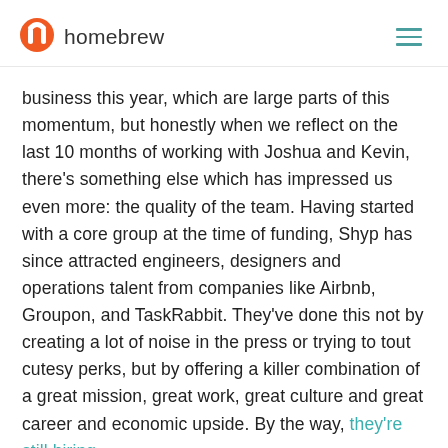homebrew
business this year, which are large parts of this momentum, but honestly when we reflect on the last 10 months of working with Joshua and Kevin, there's something else which has impressed us even more: the quality of the team. Having started with a core group at the time of funding, Shyp has since attracted engineers, designers and operations talent from companies like Airbnb, Groupon, and TaskRabbit. They've done this not by creating a lot of noise in the press or trying to tout cutesy perks, but by offering a killer combination of a great mission, great work, great culture and great career and economic upside. By the way, they're still hiring.